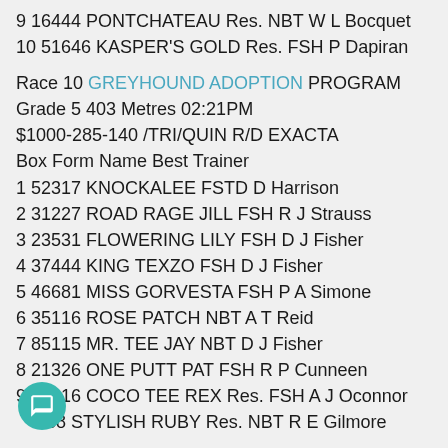9 16444 PONTCHATEAU Res. NBT W L Bocquet
10 51646 KASPER'S GOLD Res. FSH P Dapiran
Race 10 GREYHOUND ADOPTION PROGRAM
Grade 5 403 Metres 02:21PM
$1000-285-140 /TRI/QUIN R/D EXACTA
Box Form Name Best Trainer
1 52317 KNOCKALEE FSTD D Harrison
2 31227 ROAD RAGE JILL FSH R J Strauss
3 23531 FLOWERING LILY FSH D J Fisher
4 37444 KING TEXZO FSH D J Fisher
5 46681 MISS GORVESTA FSH P A Simone
6 35116 ROSE PATCH NBT A T Reid
7 85115 MR. TEE JAY NBT D J Fisher
8 21326 ONE PUTT PAT FSH R P Cunneen
9 76116 COCO TEE REX Res. FSH A J Oconnor
10 [5]38 STYLISH RUBY Res. NBT R E Gilmore